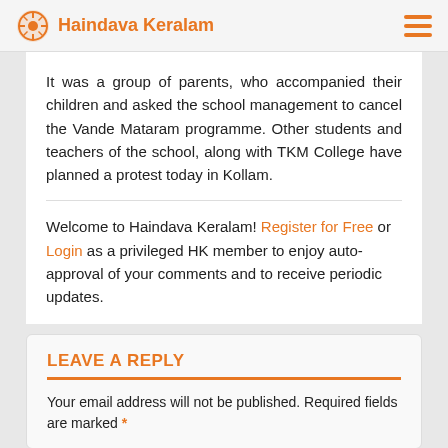Haindava Keralam
It was a group of parents, who accompanied their children and asked the school management to cancel the Vande Mataram programme. Other students and teachers of the school, along with TKM College have planned a protest today in Kollam.
Welcome to Haindava Keralam! Register for Free or Login as a privileged HK member to enjoy auto-approval of your comments and to receive periodic updates.
LEAVE A REPLY
Your email address will not be published. Required fields are marked *